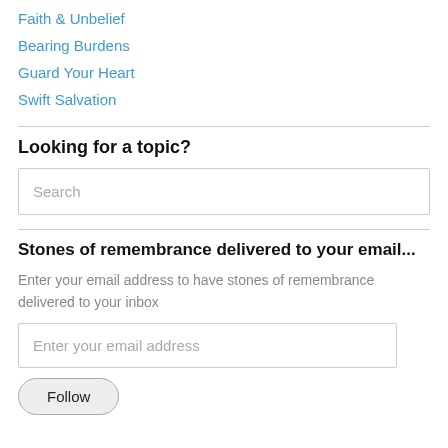Faith & Unbelief
Bearing Burdens
Guard Your Heart
Swift Salvation
Looking for a topic?
Search
Stones of remembrance delivered to your email...
Enter your email address to have stones of remembrance delivered to your inbox
Enter your email address
Follow